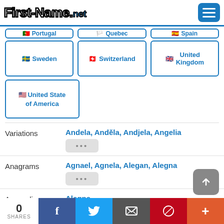First-Name.net
[Figure (screenshot): Partial country flag buttons row showing Portugal, Quebec, Spain (cut off at top)]
Sweden
Switzerland
United Kingdom
United State of America
Variations: Andela, Anděla, Andjela, Angelia ...
Anagrams: Agnael, Agnela, Alegan, Alegna ...
Anacyclics: Alegna
0 SHARES | Facebook | Twitter | Email | Pinterest | Plus